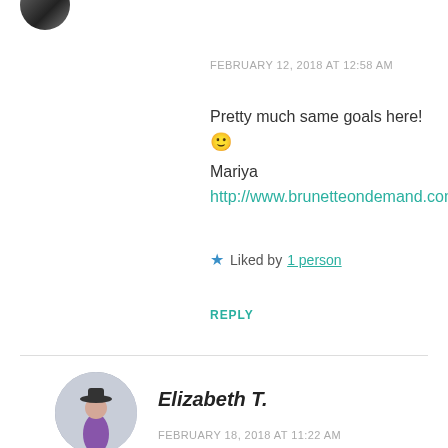[Figure (photo): Partial avatar image of a person at top left corner]
FEBRUARY 12, 2018 AT 12:58 AM
Pretty much same goals here! 🙂
Mariya
http://www.brunetteondemand.com
★ Liked by 1 person
REPLY
[Figure (photo): Circular avatar of Elizabeth T. — woman in purple dress with hat]
Elizabeth T.
FEBRUARY 18, 2018 AT 11:22 AM
Hehehe yesss! ❤️ 🙂